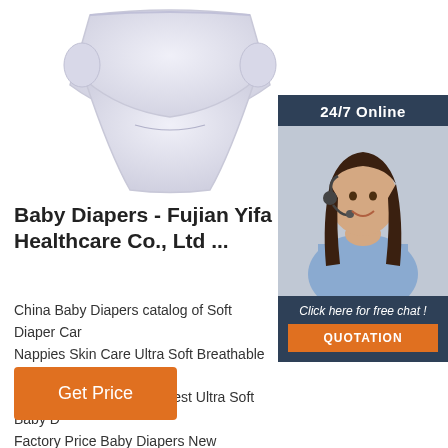[Figure (photo): Baby diaper product photo on white background]
[Figure (photo): Customer service representative with headset, 24/7 Online widget]
Baby Diapers - Fujian Yifa Healthcare Co., Ltd ...
China Baby Diapers catalog of Soft Diaper Car Nappies Skin Care Ultra Soft Breathable Dispo Diaper, Free Sample for Test Ultra Soft Baby D Factory Price Baby Diapers New Nappies prov China manufacturer - Fujian ...
Get Price